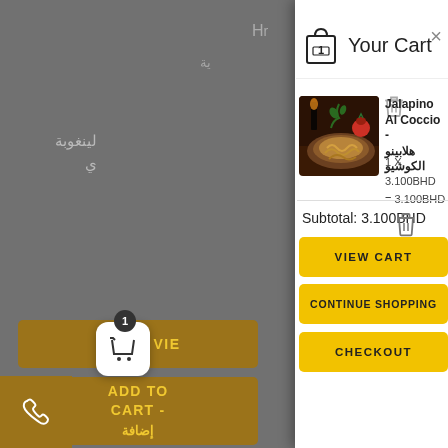[Figure (screenshot): Shopping cart modal overlay on a restaurant website. Left side shows dimmed page with Arabic text and buttons. Right side shows white cart panel with item 'Jalapino Al Coccio - هلابينو الكوشيو', price 1 X 3.100BHD = 3.100BHD, subtotal 3.100BHD, and three buttons: VIEW CART, CONTINUE SHOPPING, CHECKOUT.]